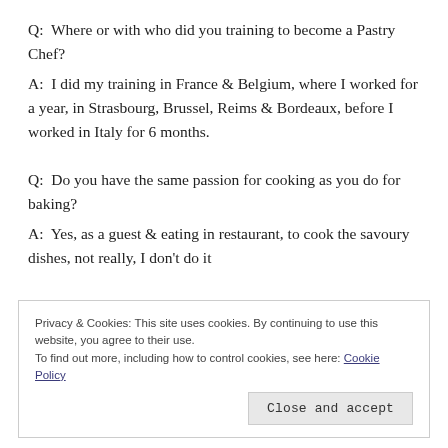Q:  Where or with who did you training to become a Pastry Chef?
A:  I did my training in France & Belgium, where I worked for a year, in Strasbourg, Brussel, Reims & Bordeaux, before I worked in Italy for 6 months.
Q:  Do you have the same passion for cooking as you do for baking?
A:  Yes, as a guest & eating in restaurant, to cook the savoury dishes, not really, I don't do it
Privacy & Cookies: This site uses cookies. By continuing to use this website, you agree to their use.
To find out more, including how to control cookies, see here: Cookie Policy
Close and accept